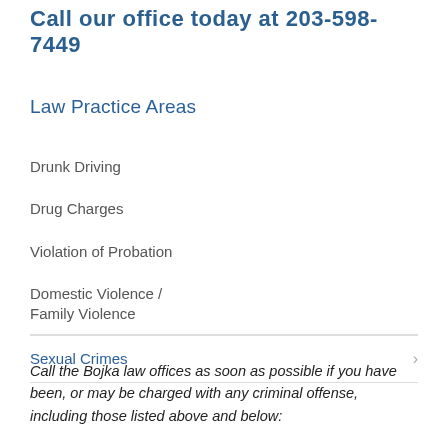Call our office today at 203-598-7449
Law Practice Areas
Drunk Driving
Drug Charges
Violation of Probation
Domestic Violence / Family Violence
Sexual Crimes
Call the Bojka law offices as soon as possible if you have been, or may be charged with any criminal offense, including those listed above and below: